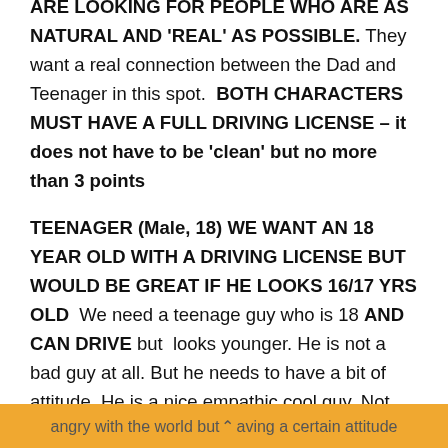ARE LOOKING FOR PEOPLE WHO ARE AS NATURAL AND 'REAL' AS POSSIBLE. They want a real connection between the Dad and Teenager in this spot.  BOTH CHARACTERS MUST HAVE A FULL DRIVING LICENSE – it does not have to be 'clean' but no more than 3 points

TEENAGER (Male, 18) WE WANT AN 18 YEAR OLD WITH A DRIVING LICENSE BUT WOULD BE GREAT IF HE LOOKS 16/17 YRS OLD  We need a teenage guy who is 18 AND CAN DRIVE but  looks younger. He is not a bad guy at all. But he needs to have a bit of attitude. He is a nice empathic cool guy. Not
angry with the world but having a certain attitude